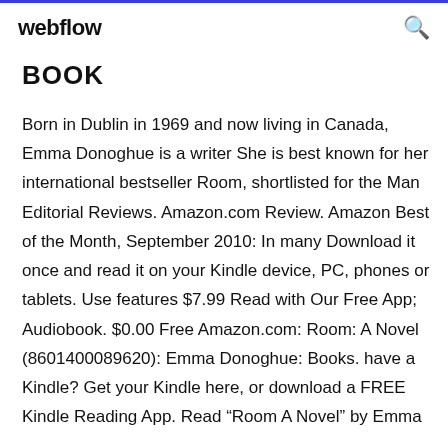webflow
BOOK
Born in Dublin in 1969 and now living in Canada, Emma Donoghue is a writer She is best known for her international bestseller Room, shortlisted for the Man  Editorial Reviews. Amazon.com Review. Amazon Best of the Month, September 2010: In many Download it once and read it on your Kindle device, PC, phones or tablets. Use features $7.99 Read with Our Free App; Audiobook. $0.00 Free Amazon.com: Room: A Novel (8601400089620): Emma Donoghue: Books. have a Kindle? Get your Kindle here, or download a FREE Kindle Reading App. Read "Room A Novel" by Emma